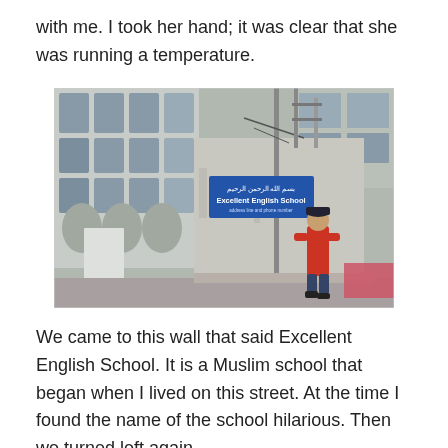with me. I took her hand; it was clear that she was running a temperature.
[Figure (photo): Street-level photograph of a building with a blue sign reading 'Excellent English School', a concrete wall in front, and a boy in a red shirt walking past.]
We came to this wall that said Excellent English School. It is a Muslim school that began when I lived on this street. At the time I found the name of the school hilarious. Then we turned left again.